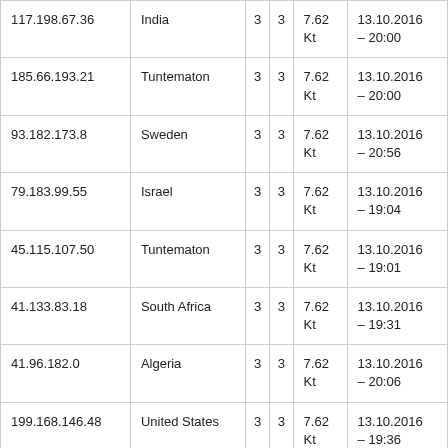| 117.198.67.36 | India | 3 | 3 | 7.62 Kt | 13.10.2016 – 20:00 |
| 185.66.193.21 | Tuntematon | 3 | 3 | 7.62 Kt | 13.10.2016 – 20:00 |
| 93.182.173.8 | Sweden | 3 | 3 | 7.62 Kt | 13.10.2016 – 20:56 |
| 79.183.99.55 | Israel | 3 | 3 | 7.62 Kt | 13.10.2016 – 19:04 |
| 45.115.107.50 | Tuntematon | 3 | 3 | 7.62 Kt | 13.10.2016 – 19:01 |
| 41.133.83.18 | South Africa | 3 | 3 | 7.62 Kt | 13.10.2016 – 19:31 |
| 41.96.182.0 | Algeria | 3 | 3 | 7.62 Kt | 13.10.2016 – 20:06 |
| 199.168.146.48 | United States | 3 | 3 | 7.62 Kt | 13.10.2016 – 19:36 |
| ... | ... | 3 | 3 | 7.62 Kt | 13.10.2016 ... |